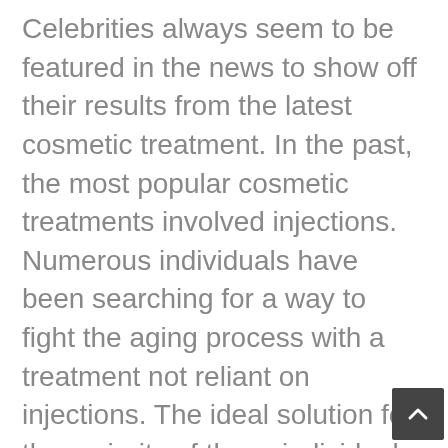Celebrities always seem to be featured in the news to show off their results from the latest cosmetic treatment. In the past, the most popular cosmetic treatments involved injections. Numerous individuals have been searching for a way to fight the aging process with a treatment not reliant on injections. The ideal solution for the majority of these individuals is called Venus Freeze. This breakthrough treatment is a non-invasive procedure for contouring and tightening the skin. In addition to providing excellent results fo